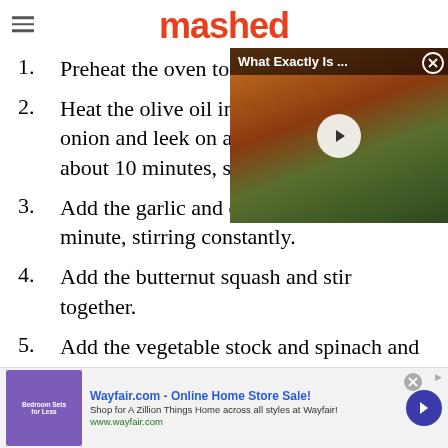mashed
1. Preheat the oven to 375
2. Heat the olive oil in a [pan], onion and leek on a me[dium heat for] about 10 minutes, stirri[ng occasionally].
[Figure (screenshot): Video overlay showing a sandwich with 'What Exactly Is ...' title bar and play button]
3. Add the garlic and cook for another minute, stirring constantly.
4. Add the butternut squash and stir together.
5. Add the vegetable stock and spinach and cook for a few minutes until the spinach
[Figure (screenshot): Wayfair.com advertisement banner - Online Home Store Sale!]